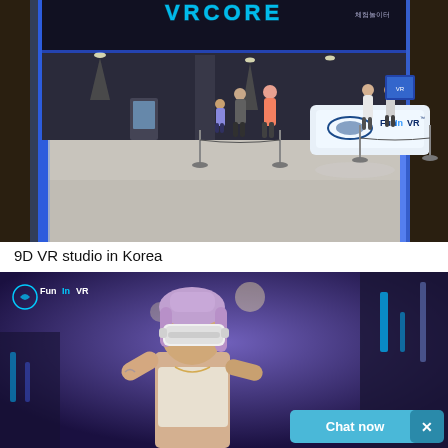[Figure (photo): Interior photo of a 9D VR arcade studio in Korea. The entrance shows blue neon lighting framing a VR gaming area with 'FunInVR' branding on a white reception desk with a stylized oval logo. Several people are standing around waiting. The ceiling is dark with spotlights. Barrier poles with ropes are set up.]
9D VR studio in Korea
[Figure (photo): A woman wearing a white VR headset experiencing virtual reality. She is in a dark purple-blue lit room with futuristic decor. The FunInVR logo appears in the top-left corner. A 'Chat now' button with an X is overlaid in the bottom-right corner.]